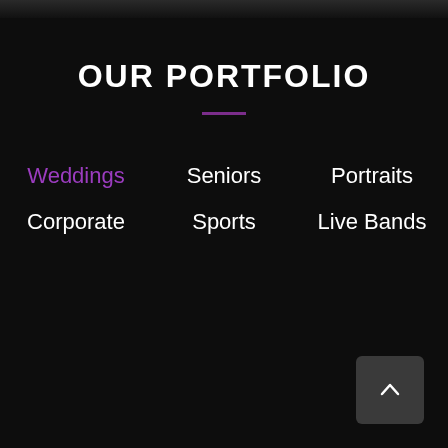OUR PORTFOLIO
Weddings
Seniors
Portraits
Corporate
Sports
Live Bands